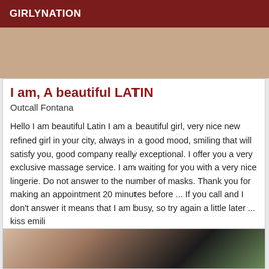GIRLYNATION
[Figure (photo): Partial photo showing hands near a dark surface, cropped]
I am, A beautiful LATIN
Outcall Fontana
Hello I am beautiful Latin I am a beautiful girl, very nice new refined girl in your city, always in a good mood, smiling that will satisfy you, good company really exceptional. I offer you a very exclusive massage service. I am waiting for you with a very nice lingerie. Do not answer to the number of masks. Thank you for making an appointment 20 minutes before ... If you call and I don't answer it means that I am busy, so try again a little later ... kiss emili
[Figure (photo): Woman posing with hand raised near hair, wearing dark clothing, with plant in background]